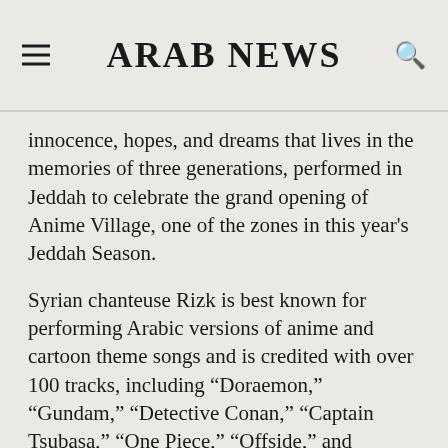ARAB NEWS
innocence, hopes, and dreams that lives in the memories of three generations, performed in Jeddah to celebrate the grand opening of Anime Village, one of the zones in this year's Jeddah Season.
Syrian chanteuse Rizk is best known for performing Arabic versions of anime and cartoon theme songs and is credited with over 100 tracks, including “Doraemon,” “Gundam,” “Detective Conan,” “Captain Tsubasa,” “One Piece,” “Offside,” and “D.I.C.E.”
After three nights of filling the air of Anime Village at City Walk, Rizk held a meet-and-greet